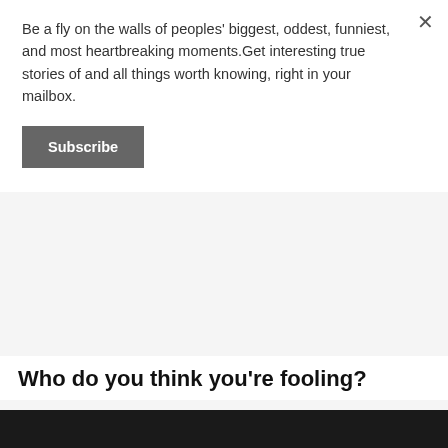Be a fly on the walls of peoples' biggest, oddest, funniest, and most heartbreaking moments.Get interesting true stories of and all things worth knowing, right in your mailbox.
Subscribe
Who do you think you're fooling?
[Figure (photo): Dark photo of a person, partially visible at bottom of page]